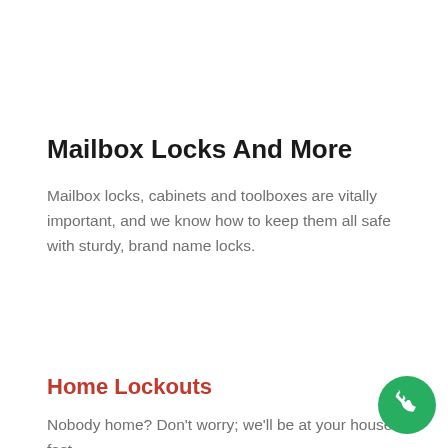Mailbox Locks And More
Mailbox locks, cabinets and toolboxes are vitally important, and we know how to keep them all safe with sturdy, brand name locks.
Home Lockouts
Nobody home? Don't worry; we'll be at your house fast with our 30 minute or less response times service
[Figure (other): Green circular phone/call button icon in bottom right corner]